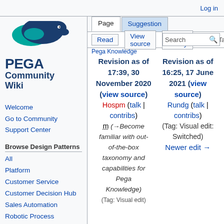Log in
[Figure (logo): PEGA Community Wiki logo with dolphin/wave graphic]
Welcome
Go to Community
Support Center
Browse Design Patterns
All
Platform
Customer Service
Customer Decision Hub
Sales Automation
Robotic Process Automation
Workforce Intelligence
Industry Segment
Page | Suggestion | Read | View source | View history | More | Search
Pega Knowledge
Revision as of 17:39, 30 November 2020 (view source)
Hospm (talk | contribs)
m (→Become familiar with out-of-the-box taxonomy and capabilities for Pega Knowledge)
Revision as of 16:25, 17 June 2021 (view source)
Rundg (talk | contribs)
(Tag: Visual edit: Switched)
Newer edit →